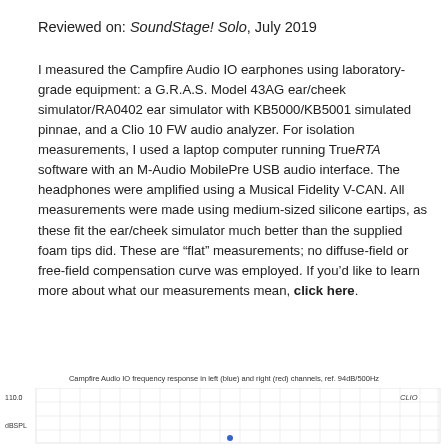Reviewed on: SoundStage! Solo, July 2019
I measured the Campfire Audio IO earphones using laboratory-grade equipment: a G.R.A.S. Model 43AG ear/cheek simulator/RA0402 ear simulator with KB5000/KB5001 simulated pinnae, and a Clio 10 FW audio analyzer. For isolation measurements, I used a laptop computer running TrueRTA software with an M-Audio MobilePre USB audio interface. The headphones were amplified using a Musical Fidelity V-CAN. All measurements were made using medium-sized silicone eartips, as these fit the ear/cheek simulator much better than the supplied foam tips did. These are “flat” measurements; no diffuse-field or free-field compensation curve was employed. If you’d like to learn more about what our measurements mean, click here.
[Figure (continuous-plot): Campfire Audio IO frequency response in left (blue) and right (red) channels, ref. 94dB/500Hz. Partial view showing top of chart at 110.0 dBSPL.]